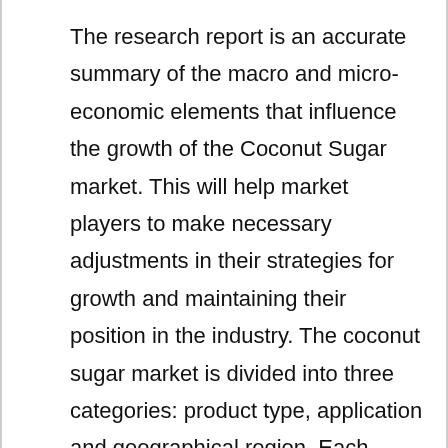The research report is an accurate summary of the macro and micro-economic elements that influence the growth of the Coconut Sugar market. This will help market players to make necessary adjustments in their strategies for growth and maintaining their position in the industry. The coconut sugar market is divided into three categories: product type, application and geographical region. Each segment is thoroughly examined so that players can focus on the high growth segments of the Coconut Sugar market and increase their sales. The competitive landscape is also revealed, allowing players to develop effective strategies and effectively compete in the global